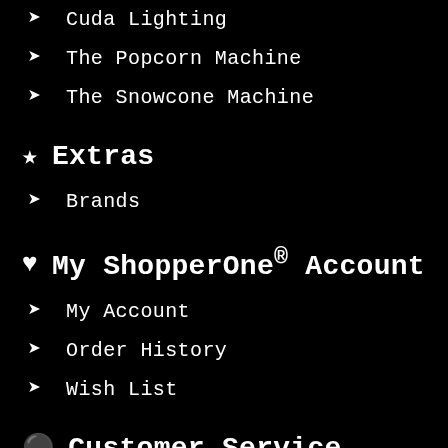Cuda Lighting
The Popcorn Machine
The Snowcone Machine
Extras
Brands
My ShopperOne® Account
My Account
Order History
Wish List
Customer Service
Contact Us
Returns
Site Map